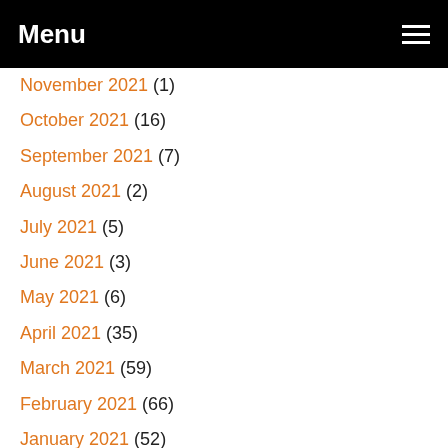Menu
November 2021 (1)
October 2021 (16)
September 2021 (7)
August 2021 (2)
July 2021 (5)
June 2021 (3)
May 2021 (6)
April 2021 (35)
March 2021 (59)
February 2021 (66)
January 2021 (52)
December 2020 (63)
November 2020 (51)
October 2020 (32)
September 2020 (27)